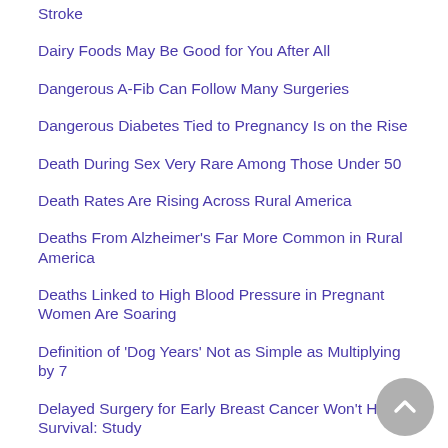Stroke
Dairy Foods May Be Good for You After All
Dangerous A-Fib Can Follow Many Surgeries
Dangerous Diabetes Tied to Pregnancy Is on the Rise
Death During Sex Very Rare Among Those Under 50
Death Rates Are Rising Across Rural America
Deaths From Alzheimer's Far More Common in Rural America
Deaths Linked to High Blood Pressure in Pregnant Women Are Soaring
Definition of 'Dog Years' Not as Simple as Multiplying by 7
Delayed Surgery for Early Breast Cancer Won't Harm Survival: Study
Delta Variant Ups Risk of Stillbirth, Death During Pregnancy, Reports Show
Demand for Liver Transplant Rises Sharply Among Older Americans